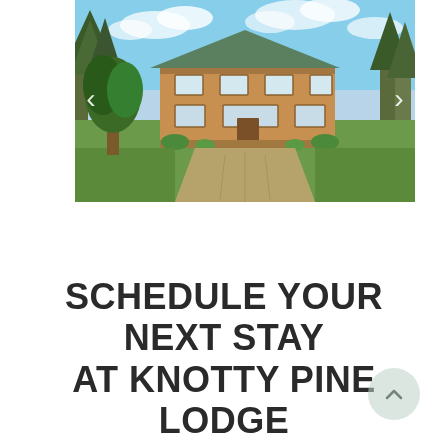[Figure (photo): Exterior photo of Knotty Pine Lodge, a large two-story log/wood-sided building surrounded by trees and a gravel driveway, with green lawn. Carousel navigation arrows on left and right sides of the image.]
SCHEDULE YOUR NEXT STAY AT KNOTTY PINE LODGE